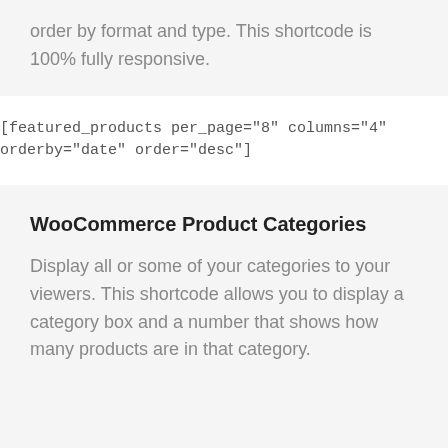order by format and type. This shortcode is 100% fully responsive.
[featured_products per_page="8" columns="4" orderby="date" order="desc"]
WooCommerce Product Categories
Display all or some of your categories to your viewers. This shortcode allows you to display a category box and a number that shows how many products are in that category.